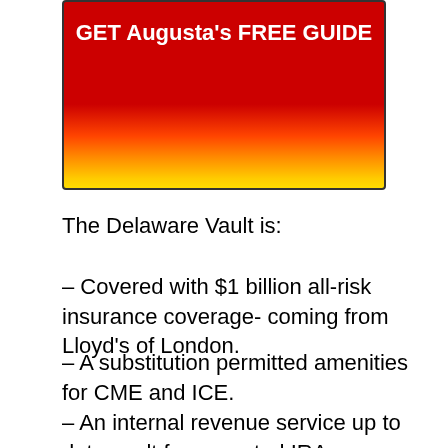[Figure (other): Red to yellow gradient button/banner with bold white text: GET Augusta's FREE GUIDE]
The Delaware Vault is:
– Covered with $1 billion all-risk insurance coverage- coming from Lloyd's of London.
– A substitution permitted amenities for CME and ICE.
– An internal revenue service up to date vault for accepted IRA properties (IRC – 408n).
– An establishment where gold is completely